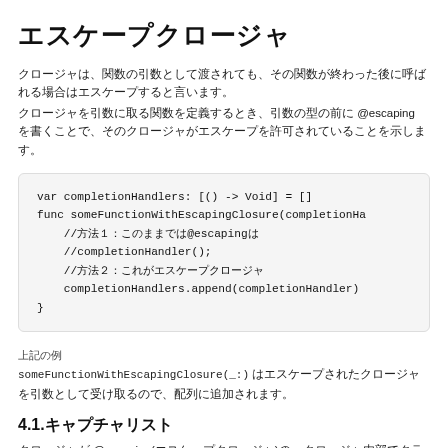エスケープクロージャ
クロージャは、関数の引数として渡されても、その関数が終わった後に呼ばれる場合はエスケープすると言います。クロージャを引数に取る関数を定義するとき、引数の型の前に @escaping を書くことで、そのクロージャがエスケープを許可されていることを示します。
[Figure (screenshot): Code block showing Swift code: var completionHandlers: [() -> Void] = [] and func someFunctionWithEscapingClosure with commented lines and completionHandlers.append(completionHandler)]
上記の例
someFunctionWithEscapingClosure(_:) はエスケープされたクロージャを引数として受け取るので、配列に追加されます。
4.1.キャプチャリスト
クロージャが @escaping(エスケープクロージャ)の、クロージャ内部でクラスのインスタンスを参照するために self を使う場合は、...